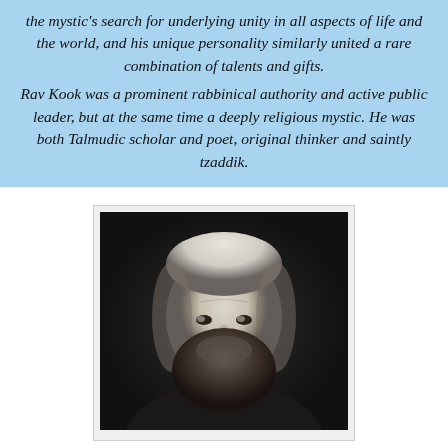the mystic's search for underlying unity in all aspects of life and the world, and his unique personality similarly united a rare combination of talents and gifts. Rav Kook was a prominent rabbinical authority and active public leader, but at the same time a deeply religious mystic. He was both Talmudic scholar and poet, original thinker and saintly tzaddik.
[Figure (photo): Black and white portrait photograph of a bearded man (Rav Kook), shown from shoulders up, with a full beard and intense gaze, against a dark background.]